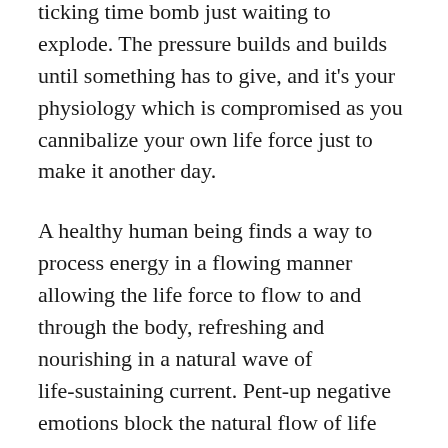All that suppressed emotional energy is like a ticking time bomb just waiting to explode. The pressure builds and builds until something has to give, and it’s your physiology which is compromised as you cannibalize your own life force just to make it another day.
A healthy human being finds a way to process energy in a flowing manner allowing the life force to flow to and through the body, refreshing and nourishing in a natural wave of life-sustaining current. Pent-up negative emotions block the natural flow of life and love energy which is healing and allows you to continue to grow and expand in ways only you can.